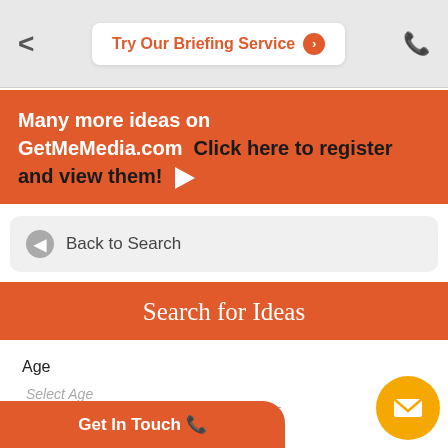< Try Our Briefing Service >  (phone icon)
Many more ideas on GetMeMedia.com  Click here to register and view them!
Back to Search
Search for Ideas
Age
Select Age
Gender
Select Gender
Media Route
Select Media Route
Get In Touch